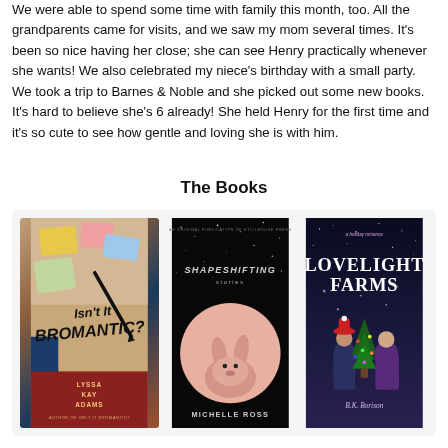We were able to spend some time with family this month, too. All the grandparents came for visits, and we saw my mom several times. It's been so nice having her close; she can see Henry practically whenever she wants! We also celebrated my niece's birthday with a small party. We took a trip to Barnes & Noble and she picked out some new books. It's hard to believe she's 6 already! She held Henry for the first time and it's so cute to see how gentle and loving she is with him.
The Books
[Figure (illustration): Three book covers displayed side by side: 'Isn't It Bromantic?' by Lyssa Kay Adams, 'Shapeshifting: Stories' by Michelle Ross, and 'Lovelight Farms' by B.K. Borison]